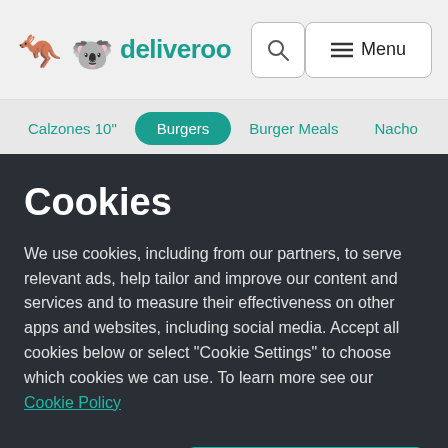[Figure (screenshot): Deliveroo website navigation bar with logo, search icon, and menu button]
[Figure (screenshot): Category tab bar showing Calzones 10", Burgers (active), Burger Meals, Nacho tabs]
Cookies
We use cookies, including from our partners, to serve relevant ads, help tailor and improve our content and services and to measure their effectiveness on other apps and websites, including social media. Accept all cookies below or select “Cookie Settings” to choose which cookies we can use. To learn more see our Cookie Policy
Cookie Settings
Accept All Cookies